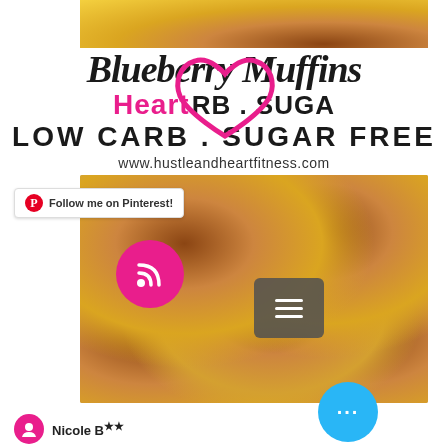[Figure (photo): Top portion of blueberry muffin photo visible at top]
Blueberry Muffins
LOW CARB . SUGAR FREE
www.hustleandheartfitness.com
[Figure (photo): Overhead photo of blueberry muffins in colorful silicone cups on wood cutting board]
Follow me on Pinterest!
Nicole B...